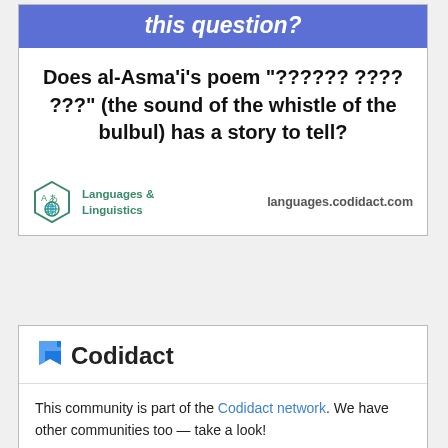this question?
Does al-Asma'i's poem "?????? ???? ???" (the sound of the whistle of the bulbul) has a story to tell?
[Figure (logo): Languages & Linguistics hexagon badge icon with globe and letter A and あ characters, teal/green color]
Languages & Linguistics
languages.codidact.com
[Figure (logo): Codidact logo with blue stylized bookmark/page icon and bold Codidact text]
This community is part of the Codidact network. We have other communities too — take a look!